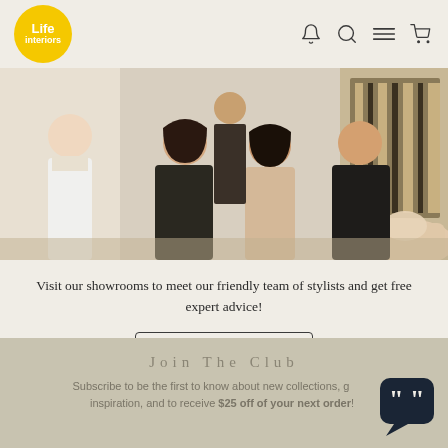Life interiors
[Figure (photo): Group photo of four women (team of stylists) posing together in a showroom setting with decorative art and cushions in the background]
Visit our showrooms to meet our friendly team of stylists and get free expert advice!
OUR STORES
Join The Club
Subscribe to be the first to know about new collections, get inspiration, and to receive $25 off of your next order!